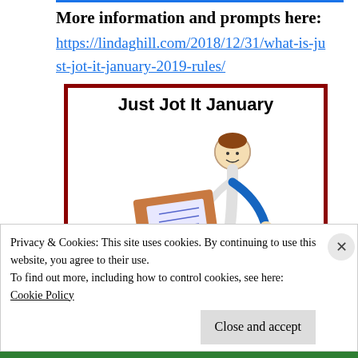More information and prompts here:
https://lindaghill.com/2018/12/31/what-is-just-jot-it-january-2019-rules/
[Figure (illustration): Just Jot It January promotional image. Shows a stick figure person sitting at a desk writing, with a tablet/sign displaying colorful text. Dark red border around the image.]
Privacy & Cookies: This site uses cookies. By continuing to use this website, you agree to their use.
To find out more, including how to control cookies, see here: Cookie Policy
Close and accept